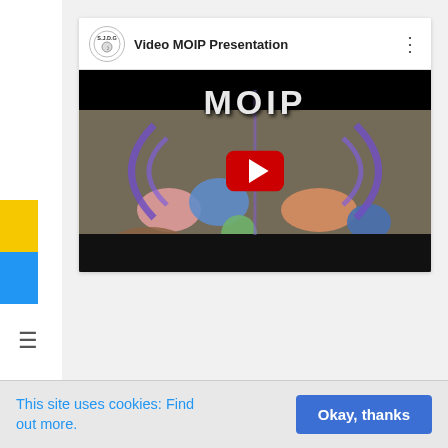[Figure (screenshot): YouTube embedded video player showing 'Video MOIP Presentation' with a map image, MOIP text overlay, purple arcs, play button, and SJDG channel logo]
This site uses cookies: Find out more.
Okay, thanks